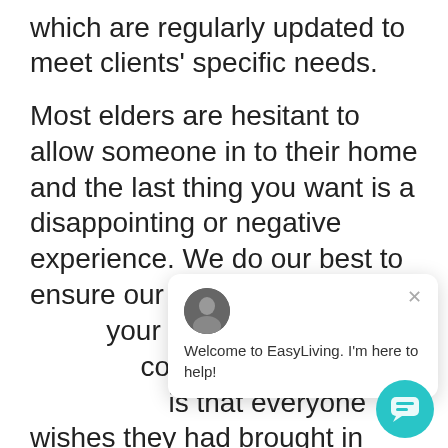which are regularly updated to meet clients' specific needs.
Most elders are hesitant to allow someone in to their home and the last thing you want is a disappointing or negative experience. We do our best to ensure our tea[m members make] your experienc[e positive. The one] comment we h[ear most often] is that everyone wishes they had brought in EasyLiving sooner.
[Figure (screenshot): Chat popup widget showing an avatar of a man in a suit, a close (×) button, and the message 'Welcome to EasyLiving. I'm here to help!' with a teal chat button below.]